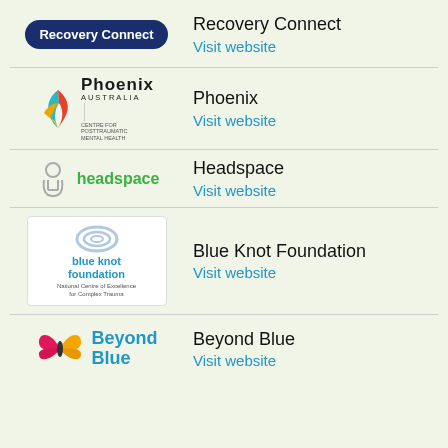[Figure (logo): Recovery Connect badge logo - dark navy rounded rectangle with white bold text]
Recovery Connect
Visit website
[Figure (logo): Phoenix Australia Centre for Posttraumatic Mental Health logo - colorful leaf/flame icon with Phoenix Australia text]
Phoenix
Visit website
[Figure (logo): Headspace logo - grey figure icon with green headspace text]
Headspace
Visit website
[Figure (logo): Blue Knot Foundation logo - blue knot graphic with blue knot foundation text, National Centre of Excellence for Complex Trauma]
Blue Knot Foundation
Visit website
[Figure (logo): Beyond Blue logo - pink and yellow butterfly with Beyond Blue text in blue]
Beyond Blue
Visit website